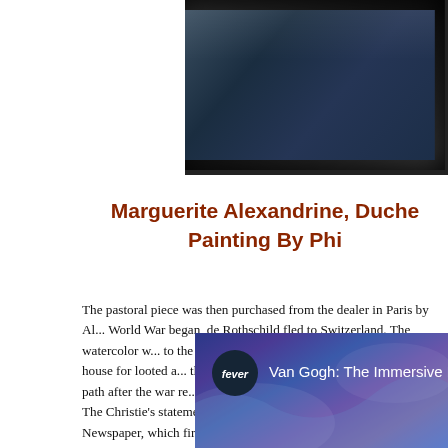[Figure (photo): Framed painting/artwork shown from below, dark frame against dark background — top portion cropped]
Marguerite Alexandrine, Duche... Painting By Phi...
The pastoral piece was then purchased from the dealer in Paris by Al... World War began, de Rothschild fled to Switzerland. The watercolor w... to the Jeu de Paume museum, then a Nazi sorting house for looted a... the time annexed into Germany. The artwork's path after the war re... York, which sold it the following year to Cox. The Christie's statement... Meirowsky and de Rothschild. But the Art Newspaper, which first repe... collection on Nov. 11, said the Meirowsky heirs have said the work wa...
[Figure (screenshot): Video thumbnail showing 'Van Gogh: The Immersive Experience' with Fever branding, purple/blue tones]